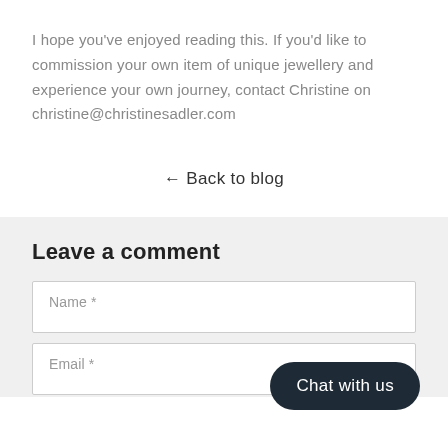I hope you've enjoyed reading this. If you'd like to commission your own item of unique jewellery and experience your own journey, contact Christine on christine@christinesadler.com
← Back to blog
Leave a comment
Name *
Email *
Chat with us